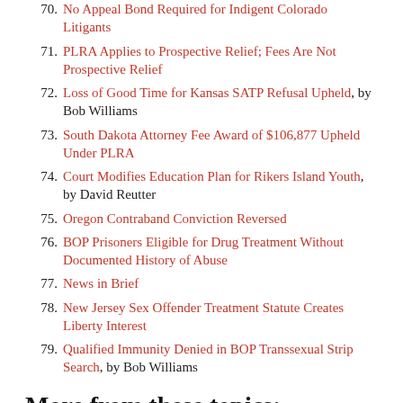70. No Appeal Bond Required for Indigent Colorado Litigants
71. PLRA Applies to Prospective Relief; Fees Are Not Prospective Relief
72. Loss of Good Time for Kansas SATP Refusal Upheld, by Bob Williams
73. South Dakota Attorney Fee Award of $106,877 Upheld Under PLRA
74. Court Modifies Education Plan for Rikers Island Youth, by David Reutter
75. Oregon Contraband Conviction Reversed
76. BOP Prisoners Eligible for Drug Treatment Without Documented History of Abuse
77. News in Brief
78. New Jersey Sex Offender Treatment Statute Creates Liberty Interest
79. Qualified Immunity Denied in BOP Transsexual Strip Search, by Bob Williams
More from these topics:
Seventh Circuit Says No Evidence Illinois Prisoner Lied About Endangerment to Circumvent PLRA's Three-Strikes Rule, Aug. 8